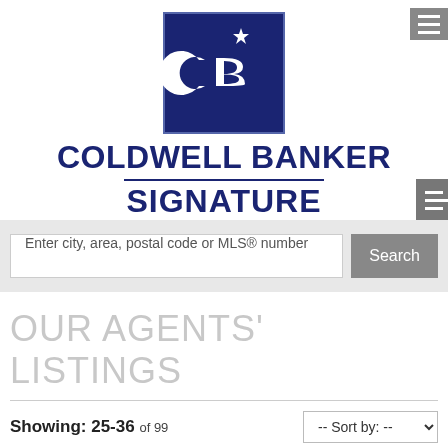[Figure (logo): Coldwell Banker logo — dark navy blue square with white CB letters and star, with 'COLDWELL BANKER' and 'SIGNATURE' text below in navy blue]
Enter city, area, postal code or MLS® number
OUR AGENTS' LISTINGS
Showing: 25-36 of 99